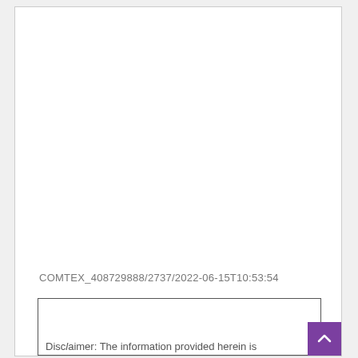COMTEX_408729888/2737/2022-06-15T10:53:54
Disclaimer: The information provided herein is...